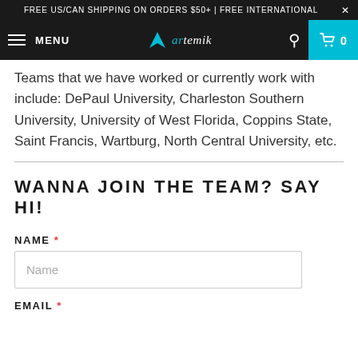FREE US/CAN SHIPPING ON ORDERS $50+ | FREE INTERNATIONAL
MENU  artemik  0
Teams that we have worked or currently work with include: DePaul University, Charleston Southern University, University of West Florida, Coppins State, Saint Francis, Wartburg, North Central University, etc.
WANNA JOIN THE TEAM? SAY HI!
NAME *
Name
EMAIL *